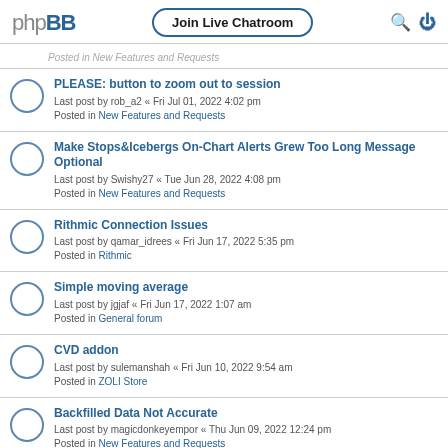phpBB | Join Live Chatroom
Posted in New Features and Requests (partial, top)
PLEASE: button to zoom out to session
Last post by rob_a2 « Fri Jul 01, 2022 4:02 pm
Posted in New Features and Requests
Make Stops&Icebergs On-Chart Alerts Grew Too Long Message Optional
Last post by Swishy27 « Tue Jun 28, 2022 4:08 pm
Posted in New Features and Requests
Rithmic Connection Issues
Last post by qamar_idrees « Fri Jun 17, 2022 5:35 pm
Posted in Rithmic
Simple moving average
Last post by jgjaf « Fri Jun 17, 2022 1:07 am
Posted in General forum
CVD addon
Last post by sulemanshah « Fri Jun 10, 2022 9:54 am
Posted in ZOLI Store
Backfilled Data Not Accurate
Last post by magicdonkeyempor « Thu Jun 09, 2022 12:24 pm
Posted in New Features and Requests